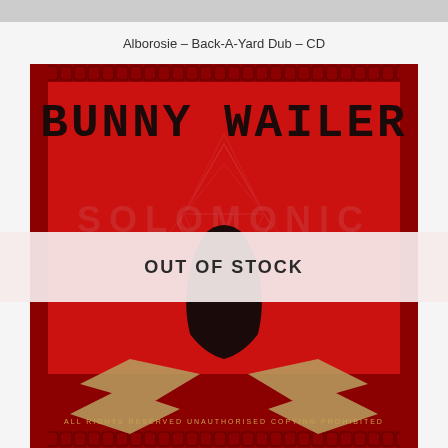Alborosie – Back-A-Yard Dub – CD
[Figure (photo): Album cover for Bunny Wailer – Solomonic release. Red background with decorative chain border, large text 'BUNNY WAILER' at top in black, 'SOLOMONIC' watermark in center, silhouette of a person with long hair in the center. Bottom portion shows gold/tan artistic design elements and text 'ALL RIGHTS RESERVED UNAUTHORISED COPYING PROHIBITED'. An 'OUT OF STOCK' banner overlays the middle of the image.]